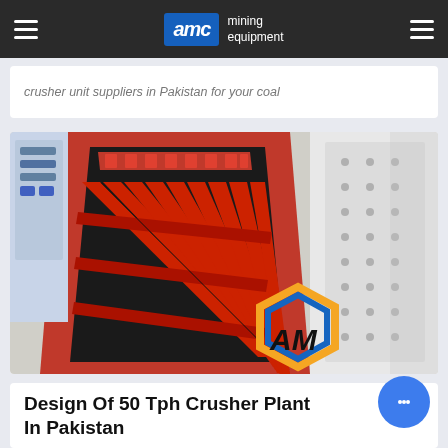AMC mining equipment
crusher unit suppliers in Pakistan for your coal
[Figure (photo): Close-up photo of a red and gray industrial mining crusher/feeder equipment with parallel red steel bars/plates arranged in a grid pattern inside a red-painted metal housing. The AMC logo (hexagonal orange and blue design) is visible in the lower right corner.]
Design Of 50 Tph Crusher Plant In Pakistan